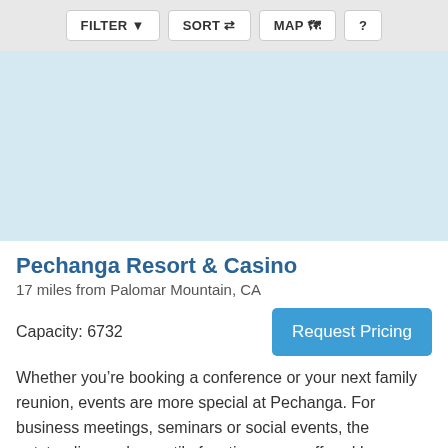[Figure (screenshot): Toolbar with FILTER, SORT, MAP, and ? buttons on a light grey background]
[Figure (map): Light blue map area placeholder]
Pechanga Resort & Casino
17 miles from Palomar Mountain, CA
Capacity: 6732
Request Pricing
Whether you’re booking a conference or your next family reunion, events are more special at Pechanga. For business meetings, seminars or social events, the outstanding and versatile function space offered by Pechanga Resort Casino is